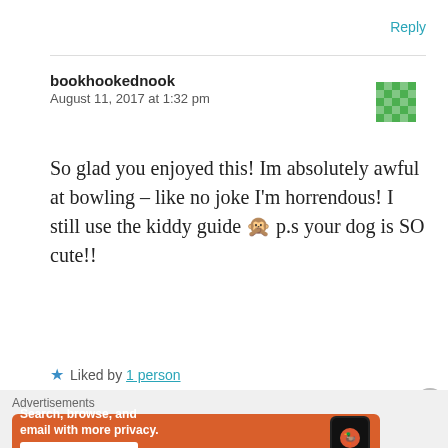Reply
bookhookednook
August 11, 2017 at 1:32 pm
So glad you enjoyed this! Im absolutely awful at bowling – like no joke I'm horrendous! I still use the kiddy guide 🙈 p.s your dog is SO cute!!
★ Liked by 1 person
[Figure (screenshot): DuckDuckGo advertisement banner: orange background with text 'Search, browse, and email with more privacy. All in One Free App' and DuckDuckGo logo on a phone]
Advertisements